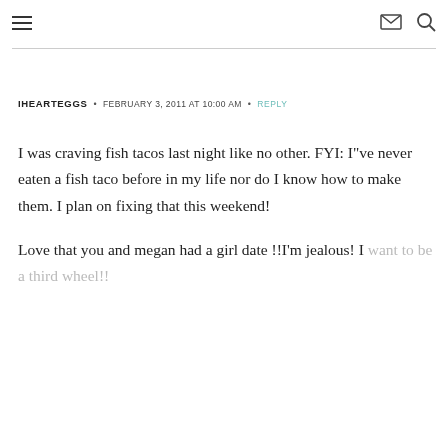≡  ✉  🔍
IHEARTEGGS  •  FEBRUARY 3, 2011 AT 10:00 AM  •  REPLY
I was craving fish tacos last night like no other. FYI: I''ve never eaten a fish taco before in my life nor do I know how to make them. I plan on fixing that this weekend!

Love that you and megan had a girl date !!I'm jealous! I want to be a third wheel!!